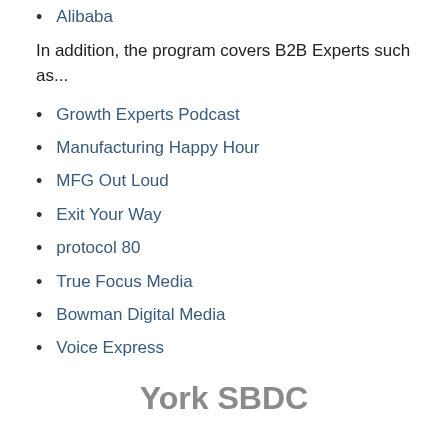Alibaba
In addition, the program covers B2B Experts such as...
Growth Experts Podcast
Manufacturing Happy Hour
MFG Out Loud
Exit Your Way
protocol 80
True Focus Media
Bowman Digital Media
Voice Express
York SBDC